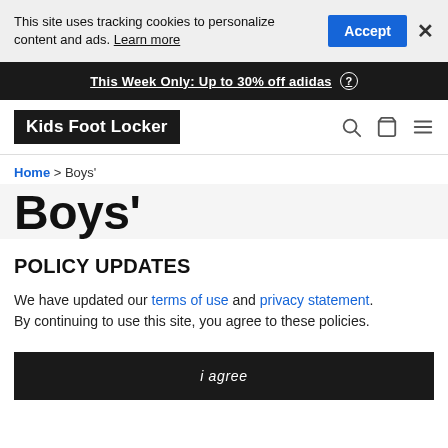This site uses tracking cookies to personalize content and ads. Learn more
This Week Only: Up to 30% off adidas
[Figure (logo): Kids Foot Locker logo — white text on black background]
Home > Boys'
Boys'
POLICY UPDATES
We have updated our terms of use and privacy statement. By continuing to use this site, you agree to these policies.
i agree